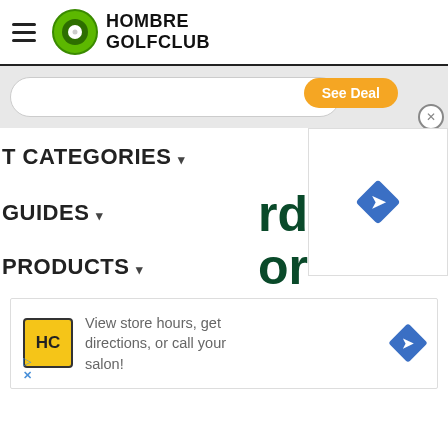HOMBRE GOLFCLUB
[Figure (screenshot): Search bar area with orange See Deal button and close X button]
T CATEGORIES ▾
[Figure (infographic): Blue diamond navigation arrow icon in ad box top right]
GUIDES ▾
rders or
PRODUCTS ▾
[Figure (infographic): Local ad box: HC logo, text 'View store hours, get directions, or call your salon!', blue diamond arrow icon, ad attribution icons]